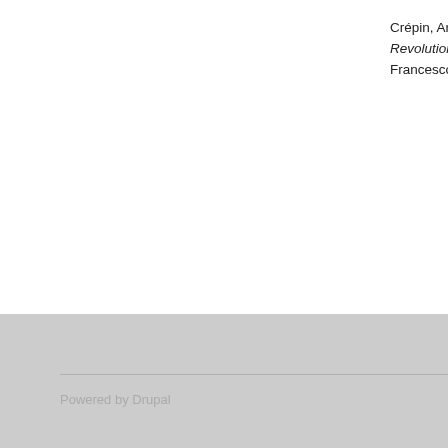Crépin, Annie. Revolutions, C... Francesco and
Search Local
Google S
The Army-McC
Search Local
Google S
s
Powered by Drupal